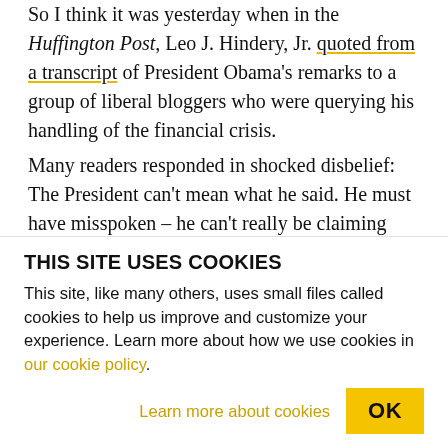So I think it was yesterday when in the Huffington Post, Leo J. Hindery, Jr. quoted from a transcript of President Obama's remarks to a group of liberal bloggers who were querying his handling of the financial crisis.
Many readers responded in shocked disbelief: The President can't mean what he said. He must have misspoken – he can't really be claiming that Roosevelt sat on his hands, deliberately letting the Depression get worse and worse.
Perhaps it was just a slip. But in 2010, even slips can be revealing – and this one comes from a definite part
THIS SITE USES COOKIES
This site, like many others, uses small files called cookies to help us improve and customize your experience. Learn more about how we use cookies in our cookie policy.